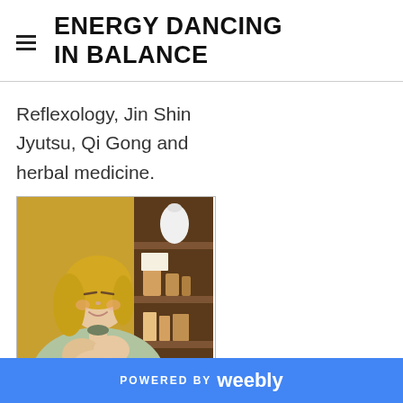ENERGY DANCING IN BALANCE
Reflexology, Jin Shin Jyutsu, Qi Gong and herbal medicine.
[Figure (photo): A woman with blonde hair and eyes closed, wearing a light green sweater, holding her hands in front of her chest in a healing gesture. Behind her is a yellow wall and a wooden shelf with various objects on it.]
POWERED BY weebly